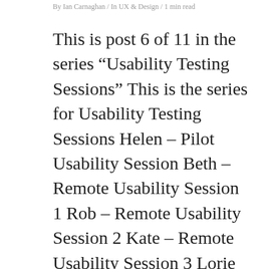By Ian Carnaghan / In UX & Design / 1 min read
This is post 6 of 11 in the series “Usability Testing Sessions” This is the series for Usability Testing Sessions Helen – Pilot Usability Session Beth – Remote Usability Session 1 Rob – Remote Usability Session 2 Kate – Remote Usability Session 3 Lorie Remote Usability Session 4 Megan Remote Usability Session 5 Jeff Remote Usability Session 6 Romey Remote…